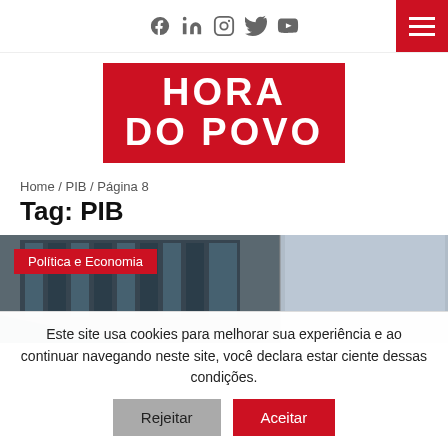Social icons: Facebook, LinkedIn, Instagram, Twitter, YouTube | Hamburger menu button
[Figure (logo): Hora do Povo logo — white bold text on red background, two lines: HORA / DO POVO]
Home / PIB / Página 8
Tag: PIB
[Figure (photo): Photo of a building with glass windows, dark facade on left side and lighter concrete wall on right. Category tag 'Política e Economia' overlaid on top-left in red.]
Este site usa cookies para melhorar sua experiência e ao continuar navegando neste site, você declara estar ciente dessas condições.
Rejeitar   Aceitar